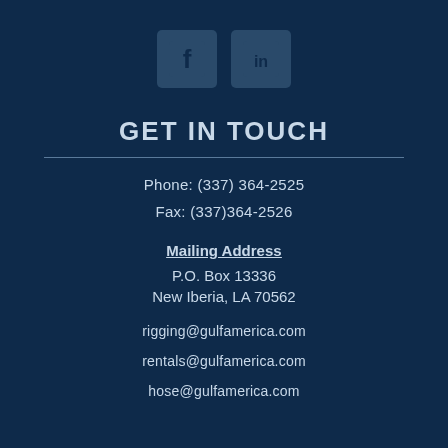[Figure (logo): Facebook and LinkedIn social media icon buttons, dark blue rounded squares with white icons]
GET IN TOUCH
Phone: (337) 364-2525
Fax: (337)364-2526
Mailing Address
P.O. Box 13336
New Iberia, LA 70562
rigging@gulfamerica.com
rentals@gulfamerica.com
hose@gulfamerica.com